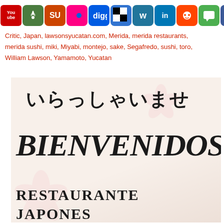[Figure (screenshot): Social media sharing icons bar including YouTube, StumbleUpon, Flickr, Digg, Delicious, WordPress, LinkedIn, Reddit, chat, Facebook, Twitter, RSS]
Critic, Japan, lawsonsyucatan.com, Merida, merida restaurants, merida sushi, miki, Miyabi, montejo, sake, Segafredo, sushi, toro, William Lawson, Yamamoto, Yucatan
[Figure (photo): Photo of a Japanese restaurant welcome sign showing Japanese text (irasshaimase) and Spanish text BIENVENIDOS and RESTAURANTE JAPONES with cherry blossom decorations on a light pink background]